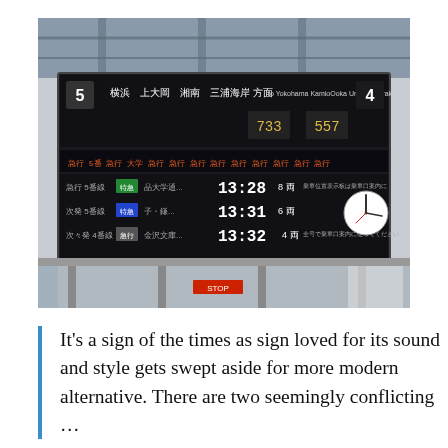[Figure (photo): Photograph of a Japanese train station departure board (flip board / LED display) mounted overhead showing train times: 13:28, 13:31, 13:32, with Japanese text indicating destinations and platform numbers. The station platform and roof structure are visible below and around the sign.]
It's a sign of the times as sign loved for its sound and style gets swept aside for more modern alternative. There are two seemingly conflicting …